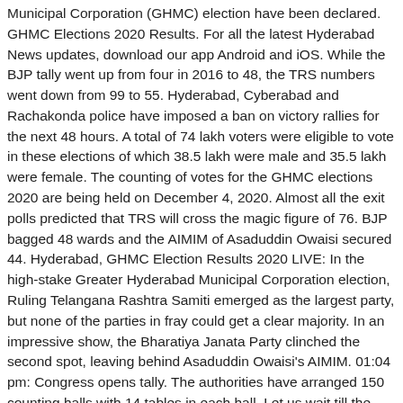Municipal Corporation (GHMC) election have been declared. GHMC Elections 2020 Results. For all the latest Hyderabad News updates, download our app Android and iOS. While the BJP tally went up from four in 2016 to 48, the TRS numbers went down from 99 to 55. Hyderabad, Cyberabad and Rachakonda police have imposed a ban on victory rallies for the next 48 hours. A total of 74 lakh voters were eligible to vote in these elections of which 38.5 lakh were male and 35.5 lakh were female. The counting of votes for the GHMC elections 2020 are being held on December 4, 2020. Almost all the exit polls predicted that TRS will cross the magic figure of 76. BJP bagged 48 wards and the AIMIM of Asaduddin Owaisi secured 44. Hyderabad, GHMC Election Results 2020 LIVE: In the high-stake Greater Hyderabad Municipal Corporation election, Ruling Telangana Rashtra Samiti emerged as the largest party, but none of the parties in fray could get a clear majority. In an impressive show, the Bharatiya Janata Party clinched the second spot, leaving behind Asaduddin Owaisi's AIMIM. 01:04 pm: Congress opens tally. The authorities have arranged 150 counting halls with 14 tables in each hall. Let us wait till the evening, but it is clear message to TRS that people want change". BJP is at the third position in the trends, while Congress seems to be ... Result is certainly not what we expected, we're short of 20-25 seats. TRS, BJP and AIMIM await their fate after high-octane campaign trail. The Greater Hyderabad Municipal Corporation is having elections right now and elections are being held for a total of 150 seats.. Voting was held on 1st December 2020 i.e election date